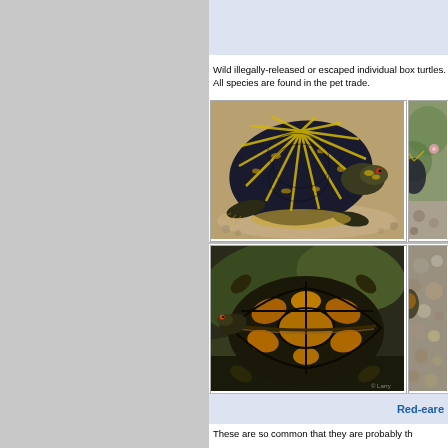Wild illegally-released or escaped individual box turtles. All species are found in the pet trade.
[Figure (photo): Ornate box turtle with dark shell and yellow radiating lines, viewed from side, on sandy ground]
[Figure (photo): Partial view of a turtle in rocky/gravelly environment, right side cropped]
[Figure (photo): Box turtle with yellow-orange markings on dark shell, viewed from above on leafy ground]
[Figure (photo): Partial view of turtle on rocky ground, right side cropped]
Red-eared
These are so common that they are probably th